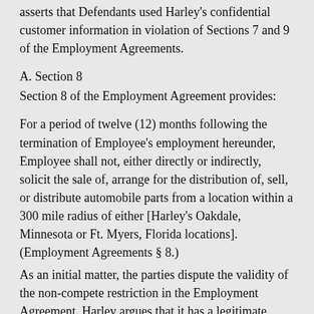asserts that Defendants used Harley's confidential customer information in violation of Sections 7 and 9 of the Employment Agreements.
A. Section 8
Section 8 of the Employment Agreement provides:
For a period of twelve (12) months following the termination of Employee's employment hereunder, Employee shall not, either directly or indirectly, solicit the sale of, arrange for the distribution of, sell, or distribute automobile parts from a location within a 300 mile radius of either [Harley's Oakdale, Minnesota or Ft. Myers, Florida locations]. (Employment Agreements § 8.)
As an initial matter, the parties dispute the validity of the non-compete restriction in the Employment Agreement. Harley argues that it has a legitimate